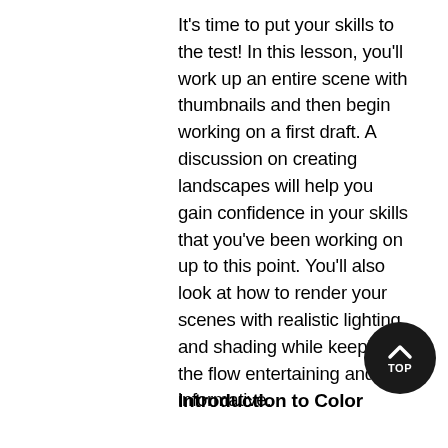It's time to put your skills to the test! In this lesson, you'll work up an entire scene with thumbnails and then begin working on a first draft. A discussion on creating landscapes will help you gain confidence in your skills that you've been working on up to this point. You'll also look at how to render your scenes with realistic lighting and shading while keeping the flow entertaining and informative.
Introduction to Color